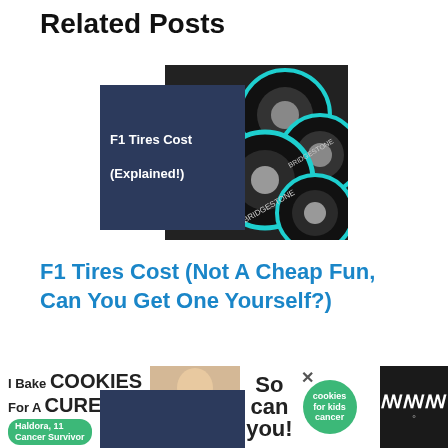Related Posts
[Figure (photo): F1 tires closeup with dark blue overlay text card reading 'F1 Tires Cost (Explained!)']
F1 Tires Cost (Not A Cheap Fun, Can You Get One Yourself?)
[Figure (photo): F1 race cars on track with dark blue overlay text card reading '1 Engine Cost']
[Figure (photo): Advertisement banner: 'I Bake COOKIES For A CURE' with woman photo, 'So can you!' text, cookies for kids cancer badge and close button]